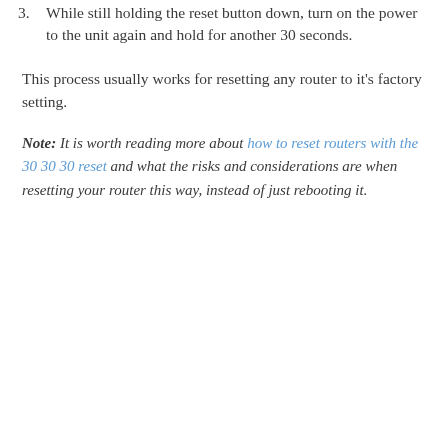3. While still holding the reset button down, turn on the power to the unit again and hold for another 30 seconds.
This process usually works for resetting any router to it's factory setting.
Note: It is worth reading more about how to reset routers with the 30 30 30 reset and what the risks and considerations are when resetting your router this way, instead of just rebooting it.